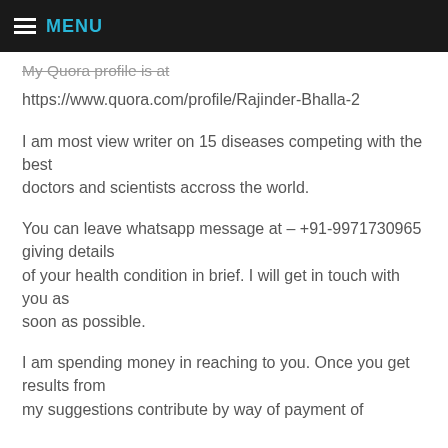MENU
My Quora profile is at https://www.quora.com/profile/Rajinder-Bhalla-2
I am most view writer on 15 diseases competing with the best doctors and scientists accross the world.
You can leave whatsapp message at – +91-9971730965 giving details of your health condition in brief. I will get in touch with you as soon as possible.
I am spending money in reaching to you. Once you get results from my suggestions contribute by way of payment of